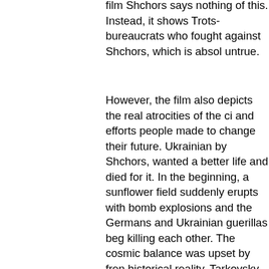film Shchors says nothing of this. Instead, it shows Trotsk bureaucrats who fought against Shchors, which is absolu untrue.
However, the film also depicts the real atrocities of the ci and efforts people made to change their future. Ukrainian by Shchors, wanted a better life and died for it. In the beginning, a sunflower field suddenly erupts with bomb explosions and the Germans and Ukrainian guerillas beg killing each other. The cosmic balance was upset by fren historical reality. Tarkovsky said that his Ivan's Childhood evolved from this one episode.
Later, Dovzhenko was allowed to return to Ukraine and w on new topics. The fiasco of the Polish state prompted th of screening Taras Bulba with allegedly anti-Polish under even though Gogol's original work is much more complic. They assigned the job to the grand master, and it is horri think what could have emerged from his studio. His heart already failing under too much strain from endless humili. In the past several years, Ukrainian cinema critics discov that the police followed his every step in the late 1930s. T atmosphere was such that Dovzhenko recalled the follow one point, after taking apart yet another script by Dovzhe